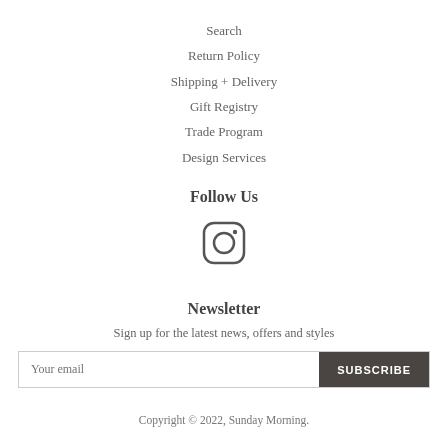Search
Return Policy
Shipping + Delivery
Gift Registry
Trade Program
Design Services
Follow Us
[Figure (logo): Instagram icon — rounded square with circle and dot inside]
Newsletter
Sign up for the latest news, offers and styles
Your email  SUBSCRIBE
Copyright © 2022, Sunday Morning.